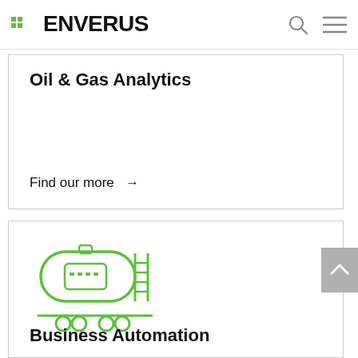ENVERUS
Oil & Gas Analytics
Find our more →
[Figure (illustration): Green line-art icon of a horizontal industrial storage tank with ladder rungs on the right side, gauges/display panel on the front, and two pairs of wheels/rollers on the bottom rail.]
Business Automation